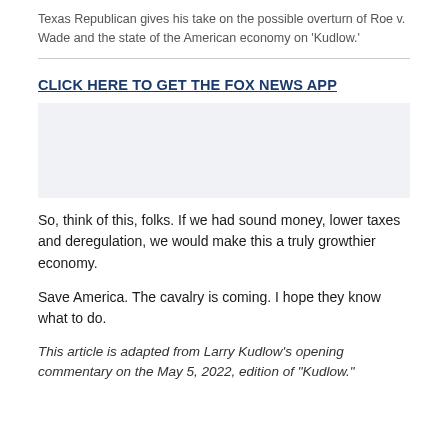Texas Republican gives his take on the possible overturn of Roe v. Wade and the state of the American economy on 'Kudlow.'
CLICK HERE TO GET THE FOX NEWS APP
[Figure (other): Advertisement placeholder box with light gray background]
So, think of this, folks. If we had sound money, lower taxes and deregulation, we would make this a truly growthier economy.
Save America. The cavalry is coming. I hope they know what to do.
This article is adapted from Larry Kudlow's opening commentary on the May 5, 2022, edition of "Kudlow."